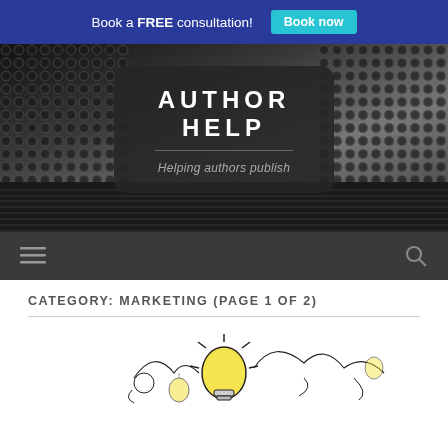Book a FREE consultation! Book now
[Figure (screenshot): Author Help website header with typewriter background image, dark rounded logo box showing 'AUTHOR HELP' and subtitle 'Helping authors publish', navigation bar with hamburger menu and search icon]
AUTHOR HELP
Helping authors publish
CATEGORY: MARKETING (PAGE 1 OF 2)
[Figure (illustration): Sketch-style illustration of light bulb ideas with doodle figures]